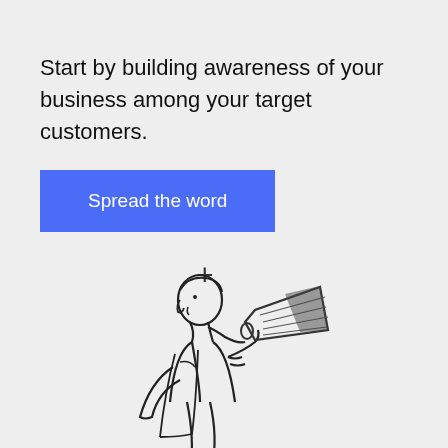Start by building awareness of your business among your target customers.
Spread the word
[Figure (illustration): Line drawing of a person holding a megaphone/bullhorn to their mouth, speaking into it. The figure is shown in profile facing right. A plus sign appears above and to the right of the figure.]